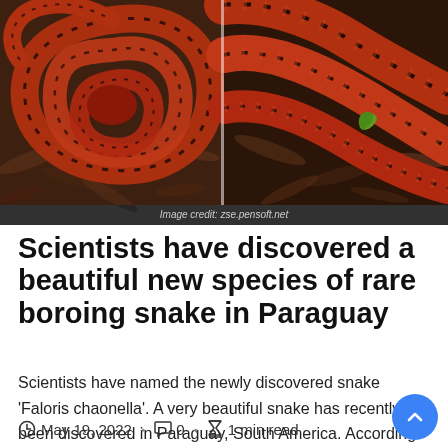[Figure (photo): Two side-by-side photographs of a red and black patterned snake (Faloris chaonella) coiled and stretched on leaf litter ground. Left photo shows the snake coiled, right photo shows the snake's body scales close up with a small green plant visible.]
Image credit: zse.pensoft.net
Scientists have discovered a beautiful new species of rare boroing snake in Paraguay
Scientists have named the newly discovered snake 'Faloris chaonella'. A very beautiful snake has recently been discovered in Paraguay, South America. According to a study [...]
May 19, 2022 · 0 · 1 min read